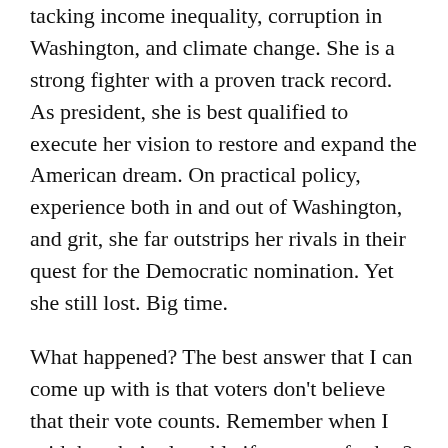tacking income inequality, corruption in Washington, and climate change. She is a strong fighter with a proven track record. As president, she is best qualified to execute her vision to restore and expand the American dream. On practical policy, experience both in and out of Washington, and grit, she far outstrips her rivals in their quest for the Democratic nomination. Yet she still lost. Big time.
What happened? The best answer that I can come up with is that voters don't believe that their vote counts. Remember when I said that she's electable if you vote for her? People still don't believe that. Voters believe that they need to vote for a winner, even if they want another candidate to win. It's a